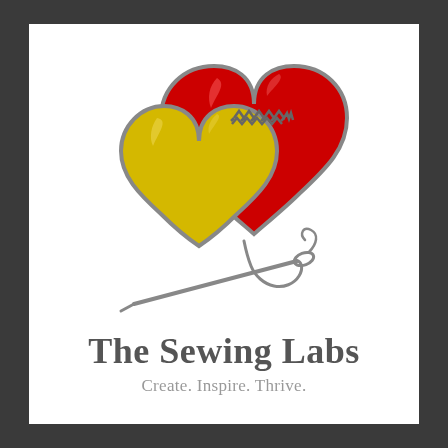[Figure (logo): Two overlapping hearts (yellow/gold on the left, red on the right) sewn together with a needle and thread. The needle is gray and passes through the bottom center of the hearts, with a curled thread at the eye. The hearts have a stitched seam where they meet.]
The Sewing Labs
Create. Inspire. Thrive.